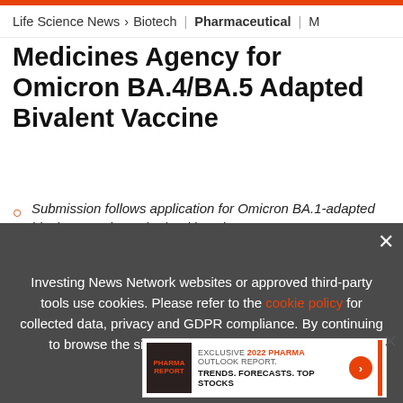Life Science News > Biotech | Pharmaceutical | M
Medicines Agency for Omicron BA.4/BA.5 Adapted Bivalent Vaccine
Submission follows application for Omicron BA.1-adapted bivalent vaccine submitted in July
If authorized, both Omicron BA.1-adapted and Omicron BA.4/BA.5-adapted bivalent vaccines will be avail...
[Figure (infographic): Advertisement banner: EXCLUSIVE 2022 PHARMA OUTLOOK REPORT. TRENDS. FORECASTS. TOP STOCKS with orange arrow button]
Investing News Network websites or approved third-party tools use cookies. Please refer to the cookie policy for collected data, privacy and GDPR compliance. By continuing to browse the site, you agree to our use of cookies.